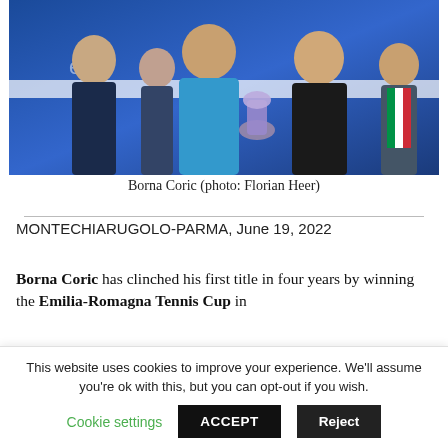[Figure (photo): Group photo of Borna Coric holding a trophy with an official in a black suit, surrounded by other people, in front of a blue backdrop at the Emilia-Romagna Tennis Cup ceremony.]
Borna Coric (photo: Florian Heer)
MONTECHIARUGOLO-PARMA, June 19, 2022
Borna Coric has clinched his first title in four years by winning the Emilia-Romagna Tennis Cup in
This website uses cookies to improve your experience. We'll assume you're ok with this, but you can opt-out if you wish.
Cookie settings  ACCEPT  Reject